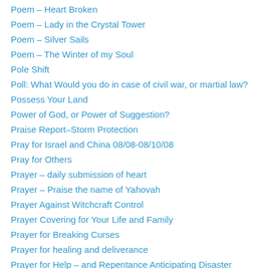Poem – Heart Broken
Poem – Lady in the Crystal Tower
Poem – Silver Sails
Poem – The Winter of my Soul
Pole Shift
Poll: What Would you do in case of civil war, or martial law?
Possess Your Land
Power of God, or Power of Suggestion?
Praise Report–Storm Protection
Pray for Israel and China 08/08-08/10/08
Pray for Others
Prayer – daily submission of heart
Prayer – Praise the name of Yahovah
Prayer Against Witchcraft Control
Prayer Covering for Your Life and Family
Prayer for Breaking Curses
Prayer for healing and deliverance
Prayer for Help – and Repentance Anticipating Disaster
Prayer for single women
Prayer for unsaved loved ones